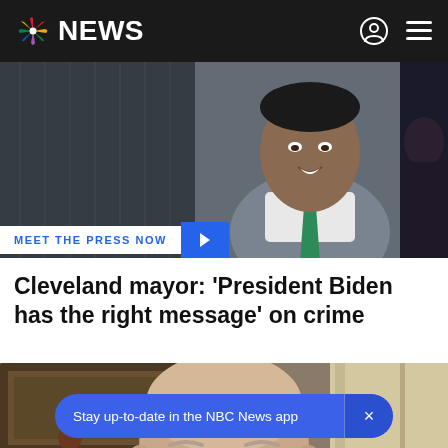NBC NEWS
[Figure (photo): Top portion showing a person in a suit with a green tie against a dark background, cropped at shoulders]
MEET THE PRESS NOW
Cleveland mayor: 'President Biden has the right message' on crime
[Figure (photo): Elderly man seated in an ornate chair, looking at camera, in a room with a painting and curtains]
Stay up-to-date in the NBC News app